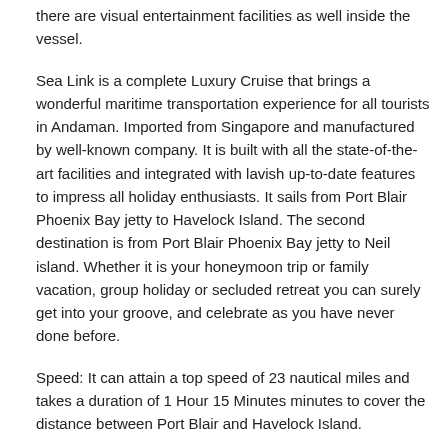there are visual entertainment facilities as well inside the vessel.
Sea Link is a complete Luxury Cruise that brings a wonderful maritime transportation experience for all tourists in Andaman. Imported from Singapore and manufactured by well-known company. It is built with all the state-of-the-art facilities and integrated with lavish up-to-date features to impress all holiday enthusiasts. It sails from Port Blair Phoenix Bay jetty to Havelock Island. The second destination is from Port Blair Phoenix Bay jetty to Neil island. Whether it is your honeymoon trip or family vacation, group holiday or secluded retreat you can surely get into your groove, and celebrate as you have never done before.
Speed: It can attain a top speed of 23 nautical miles and takes a duration of 1 Hour 15 Minutes minutes to cover the distance between Port Blair and Havelock Island.
Distance: It sails from Port Blair Phoenix Bay jetty to Havelock Island. The second destination is Port Blair Phoenix Bay jetty to Neil island.
Seating Capacity: The magnificent vessel can accommodate 200 Guests and is equipped with Air Conditioners. The Upper Deck comprises of Business Class prepared with 27 seats, Lower Deck Front Position